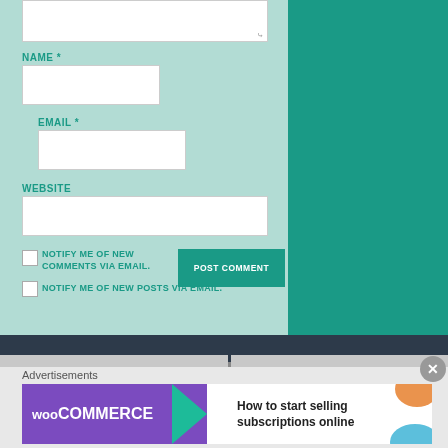[Figure (screenshot): Web comment form with fields for Name, Email, Website, checkboxes for notification, and a Post Comment button on a light teal background]
NAME *
EMAIL *
WEBSITE
NOTIFY ME OF NEW COMMENTS VIA EMAIL.
NOTIFY ME OF NEW POSTS VIA EMAIL.
POST COMMENT
Advertisements
[Figure (screenshot): WooCommerce advertisement banner: 'How to start selling subscriptions online']